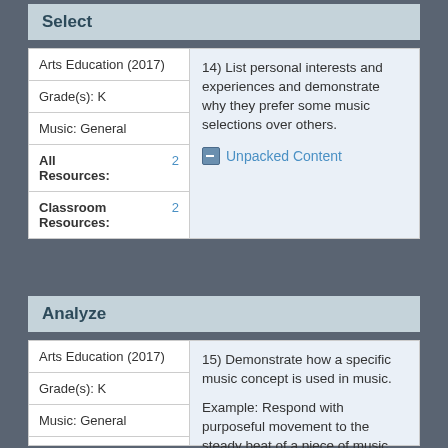Select
| Arts Education (2017) | 14) List personal interests and experiences and demonstrate why they prefer some music selections over others. |
| Grade(s): K |  |
| Music: General |  |
| All Resources: | 2 |
| Classroom Resources: | 2 |
Unpacked Content
Analyze
| Arts Education (2017) | 15) Demonstrate how a specific music concept is used in music. |
| Grade(s): K |  |
| Music: General |  |
| All Resources: | 12 |
Example: Respond with purposeful movement to the steady beat of a piece of music.